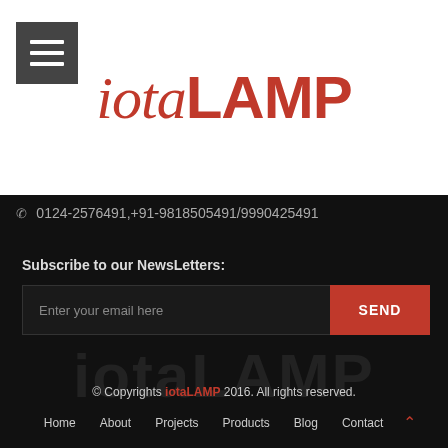[Figure (logo): iotaLAMP logo in red italic and bold font on white background]
0124-2576491,+91-9818505491/9990425491
Subscribe to our NewsLetters:
Enter your email here
SEND
© Copyrights iotaLAMP 2016. All rights reserved.
Home   About   Projects   Products   Blog   Contact